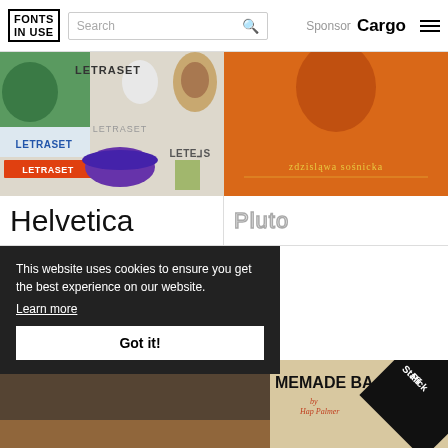FONTS IN USE | Search | Sponsor Cargo
[Figure (photo): Letraset promotional collage with various Letraset logo designs and branding materials]
[Figure (photo): Orange album cover with text 'zdzislawa sosniecka' in stylized orange font]
Helvetica
Pluto
STRIPES
Broadway
[Figure (photo): Bottom left partial image in dark tones]
[Figure (photo): Book cover showing MEMADE BA by Hap Palmer with Staff Pick badge, children visible]
This website uses cookies to ensure you get the best experience on our website. Learn more
Got it!